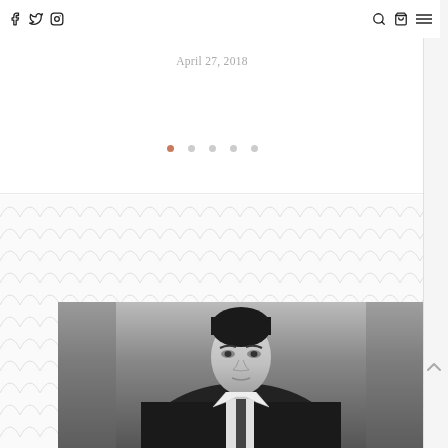Social icons: Facebook, Twitter, Instagram | Search, Cart, Menu
April 27, 2018
[Figure (other): Carousel dot indicators: 5 dots, first dot active (salmon/orange color), remaining 4 grey]
[Figure (other): Decorative scallop/wave pattern background in light grey]
[Figure (photo): Black and white fashion photograph of a young male model wearing a dark suit with tie, looking intensely at camera]
[Figure (other): Scroll-to-top chevron arrow icon on right sidebar]